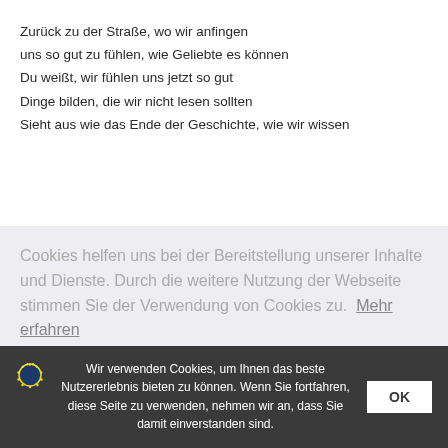Zurück zu der Straße, wo wir anfingen
uns so gut zu fühlen, wie Geliebte es können
Du weißt, wir fühlen uns jetzt so gut
Dinge bilden, die wir nicht lesen sollten
Sieht aus wie das Ende der Geschichte, wie wir wissen
Cookies helfen uns bei der Bereitstellung unserer Inhalte und Dienste. Durch die weitere Nutzung der Webseite stimmen Sie der Verwendung von Cookies zu.  Mehr erfahren
Wir verwenden Cookies, um Ihnen das beste Nutzererlebnis bieten zu können. Wenn Sie fortfahren, diese Seite zu verwenden, nehmen wir an, dass Sie damit einverstanden sind. OK